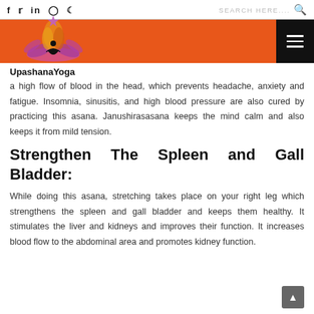Social icons (f, Twitter, in, Instagram, Pinterest) | SEARCH HERE.... [search icon]
[Figure (logo): Upashana Yoga logo with orange flame and meditating figure on lotus, on orange banner background with hamburger menu button]
a high flow of blood in the head, which prevents headache, anxiety and fatigue. Insomnia, sinusitis, and high blood pressure are also cured by practicing this asana. Janushirasasana keeps the mind calm and also keeps it from mild tension.
Strengthen The Spleen and Gall Bladder:
While doing this asana, stretching takes place on your right leg which strengthens the spleen and gall bladder and keeps them healthy. It stimulates the liver and kidneys and improves their function. It increases blood flow to the abdominal area and promotes kidney function.